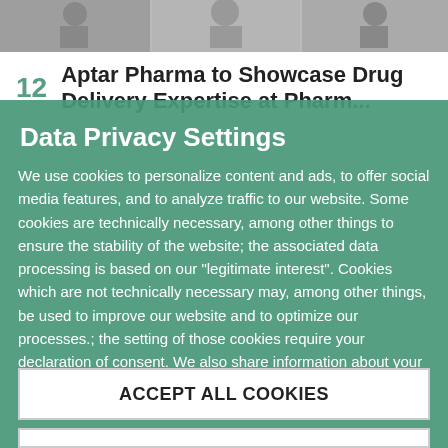[Figure (photo): Photo strip at top of page showing people or products, partially visible]
12   Aptar Pharma to Showcase Drug Delivery Expertise at Pharma...
Data Privacy Settings
We use cookies to personalize content and ads, to offer social media features, and to analyze traffic to our website. Some cookies are technically necessary, among other things to ensure the stability of the website; the associated data processing is based on our "legitimate interest". Cookies which are not technically necessary may, among other things, be used to improve our website and to optimize our processes.; the setting of those cookies require your declaration of consent. We also share information about your use of our website with our social media, advertising and analytics partners. Our partners may combine this information
ACCEPT ALL COOKIES